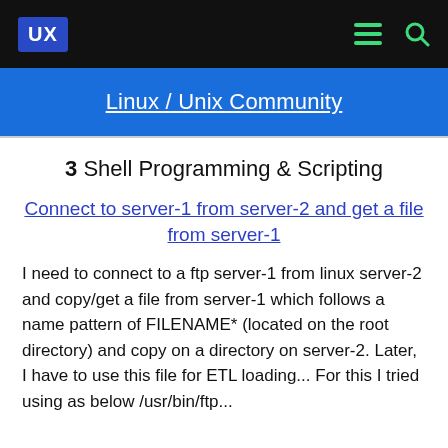UX
Linux / Unix Community
3  Shell Programming & Scripting
Connect to server-1 from server-2 and get a file from server-1
I need to connect to a ftp server-1 from linux server-2 and copy/get a file from server-1 which follows a name pattern of FILENAME* (located on the root directory) and copy on a directory on server-2. Later, I have to use this file for ETL loading... For this I tried using as below /usr/bin/ftp...